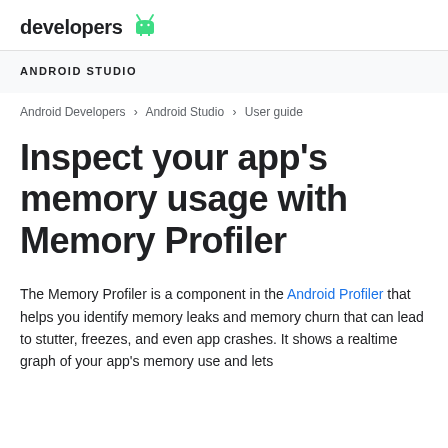developers 🤖
ANDROID STUDIO
Android Developers > Android Studio > User guide
Inspect your app's memory usage with Memory Profiler
The Memory Profiler is a component in the Android Profiler that helps you identify memory leaks and memory churn that can lead to stutter, freezes, and even app crashes. It shows a realtime graph of your app's memory use and lets